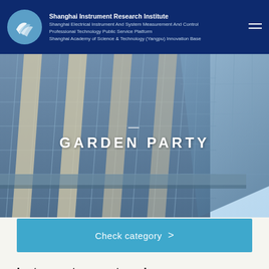Shanghai Instrument Research Institute
Shanghai Electrical Instrument And System Measurement And Control Professional Technology Public Service Platform
Shanghai Academy of Science & Technology (Yangpu) Innovation Base
[Figure (photo): Aerial/upward view of a modern glass and steel high-rise building against a light blue sky, with geometric facade details in blue-grey glass panels and white/beige structural elements.]
GARDEN PARTY
Check category >
Instrument on centenarians, warmth of love
On the morning of December 10, instrument